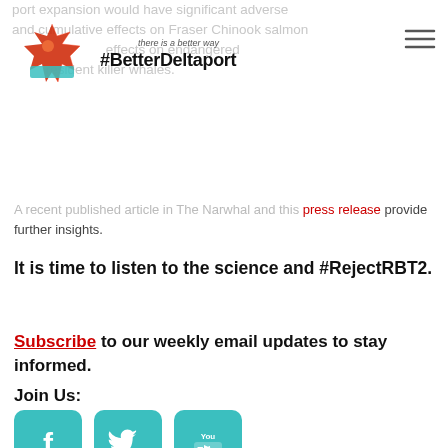there is a better way #BetterDeltaport
port expansion would have significant adverse and cumulative effects on Fraser Chinook salmon … adverse effects on endangered … resident killer whales.
A recent published article in The Narwhal and this press release provide further insights.
It is time to listen to the science and #RejectRBT2.
Subscribe to our weekly email updates to stay informed.
Join Us:
[Figure (logo): Facebook, Twitter, YouTube social media icons in teal/cyan rounded squares]